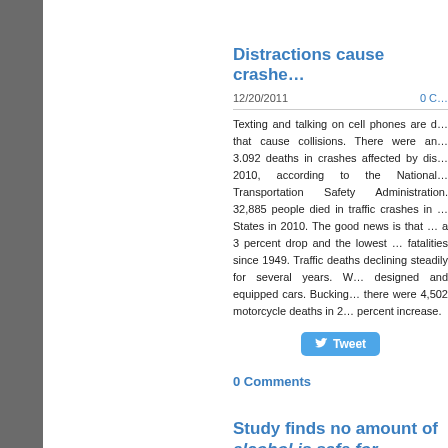Distractions cause crashe…
12/20/2011
0 C…
Texting and talking on cell phones are distractions that cause collisions. There were approximately 3,092 deaths in crashes affected by distracted driving in 2010, according to the National Highway Transportation Safety Administration. A total of 32,885 people died in traffic crashes in the United States in 2010. The good news is that this represents a 3 percent drop and the lowest number of fatalities since 1949. Traffic deaths have been declining steadily for several years. With better-designed and equipped cars. Bucking this trend, there were 4,502 motorcycle deaths in 2010, a 2 percent increase.
Tweet
0 Comments
Study finds no amount of alcohol is safe for driving…